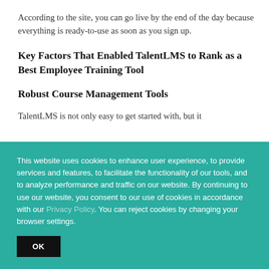According to the site, you can go live by the end of the day because everything is ready-to-use as soon as you sign up.
Key Factors That Enabled TalentLMS to Rank as a Best Employee Training Tool
Robust Course Management Tools
TalentLMS is not only easy to get started with, but it
This website uses cookies to enhance user experience, to provide services and features, to facilitate the functionality of our tools, and to analyze performance and traffic on our website. By continuing to use our website, you consent to our use of cookies in accordance with our Privacy Policy. You can reject cookies by changing your browser settings.